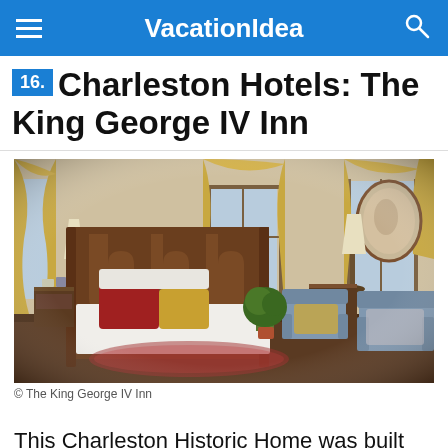VacationIdea
16. Charleston Hotels: The King George IV Inn
[Figure (photo): Interior photo of The King George IV Inn bedroom featuring a four-poster wooden bed with white linens and red/gold pillows, floral wallpaper, gold draped curtains, two blue armchairs, and a dark wood side table with lamp.]
© The King George IV Inn
This Charleston Historic Home was built